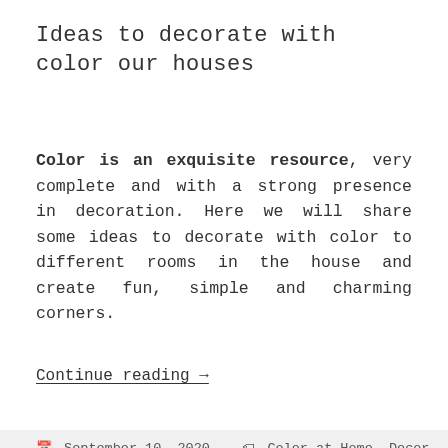Ideas to decorate with color our houses
Color is an exquisite resource, very complete and with a strong presence in decoration. Here we will share some ideas to decorate with color to different rooms in the house and create fun, simple and charming corners.
Continue reading →
September 10, 2020   Color at Home, Decor Idea, Furniture, Home Decor, Painting and Effects
This website uses cookies to improve your experience. Learn More  GOT IT